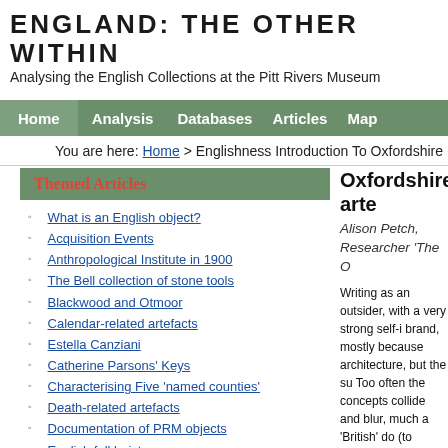ENGLAND: THE OTHER WITHIN
Analysing the English Collections at the Pitt Rivers Museum
Home | Analysis | Databases | Articles | Map
You are here: Home > Englishness Introduction To Oxfordshire
Themed Articles
What is an English object?
Acquisition Events
Anthropological Institute in 1900
The Bell collection of stone tools
Blackwood and Otmoor
Calendar-related artefacts
Estella Canziani
Catherine Parsons' Keys
Characterising Five 'named counties'
Death-related artefacts
Documentation of PRM objects
English folklorists
Ethnology, Ethnography, Anthropology
Ethnographical Survey of the UK
Ellen Ettlinger
London gunmakers
Museum of England
Oxfordshire collections
Pitt Rivers and archaeology in England
Oxfordshire arte
Alison Petch,
Researcher 'The O
Writing as an outsider, with a very strong self-i brand, mostly because architecture, but the su Too often the concepts collide and blur, much a 'British' do (to English p quite a large area [1] a dominated cultural life i things to discover in oth
Today's Oxfordshire is a the boundary reorganiz including the Vale of the Oxfordshire. This move http://en.wikipedia.org/w extends from the Chilte